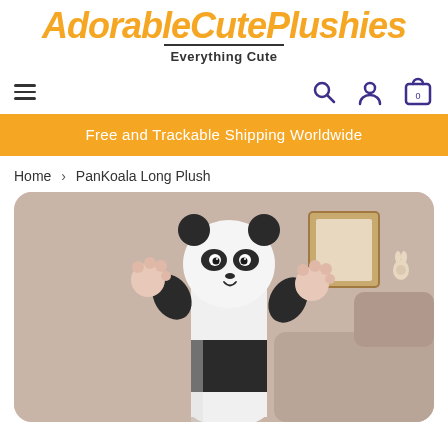[Figure (logo): AdorableCutePlushies logo with orange italic cursive text and tagline 'Everything Cute']
Navigation bar with hamburger menu, search icon, account icon, and cart icon
Free and Trackable Shipping Worldwide
Home > PanKoala Long Plush
[Figure (photo): A long cylindrical panda plush toy lying on a couch with arms raised, white and black coloring with pink paw details, photographed in a room setting]